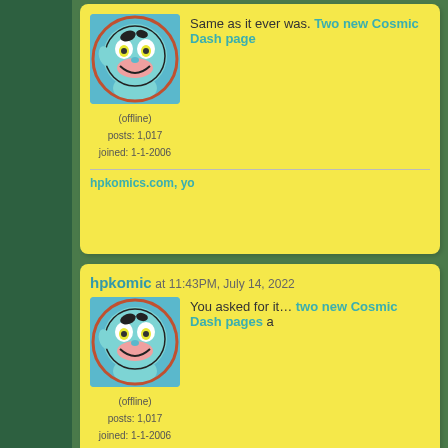Same as it ever was. Two new Cosmic Dash page
(offline)
posts: 1,017
joined: 1-1-2006
hpkomics.com, yo
hpkomic at 11:43PM, July 14, 2022
You asked for it… two new Cosmic Dash pages a
(offline)
posts: 1,017
joined: 1-1-2006
hpkomics.com, yo